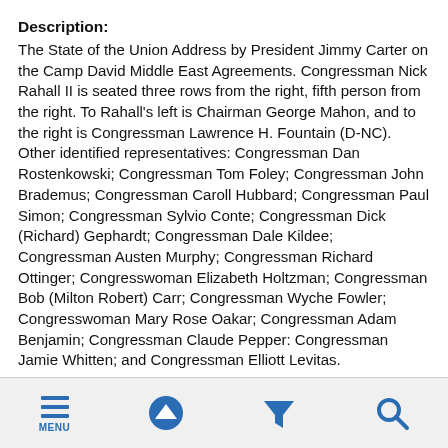Description:
The State of the Union Address by President Jimmy Carter on the Camp David Middle East Agreements. Congressman Nick Rahall II is seated three rows from the right, fifth person from the right. To Rahall's left is Chairman George Mahon, and to the right is Congressman Lawrence H. Fountain (D-NC). Other identified representatives: Congressman Dan Rostenkowski; Congressman Tom Foley; Congressman John Brademus; Congressman Caroll Hubbard; Congressman Paul Simon; Congressman Sylvio Conte; Congressman Dick (Richard) Gephardt; Congressman Dale Kildee; Congressman Austen Murphy; Congressman Richard Ottinger; Congresswoman Elizabeth Holtzman; Congressman Bob (Milton Robert) Carr; Congressman Wyche Fowler; Congresswoman Mary Rose Oakar; Congressman Adam Benjamin; Congressman Claude Pepper: Congressman Jamie Whitten; and Congressman Elliott Levitas.
MENU | up | filter | search